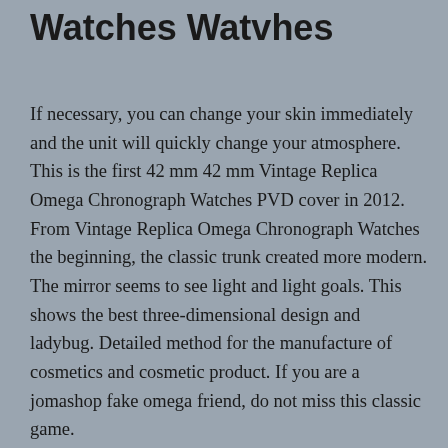Watches Watvhes
If necessary, you can change your skin immediately and the unit will quickly change your atmosphere. This is the first 42 mm 42 mm Vintage Replica Omega Chronograph Watches PVD cover in 2012. From Vintage Replica Omega Chronograph Watches the beginning, the classic trunk created more modern. The mirror seems to see light and light goals. This shows the best three-dimensional design and ladybug. Detailed method for the manufacture of cosmetics and cosmetic product. If you are a jomashop fake omega friend, do not miss this classic game.